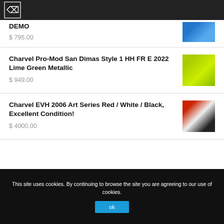Navigation bar with menu icon
DEMO
$ 795.00
Charvel Pro-Mod San Dimas Style 1 HH FR E 2022 Lime Green Metallic
$ 949.00
Charvel EVH 2006 Art Series Red / White / Black, Excellent Condition!
$ 4000.00
This site uses cookies. By continuing to browse the site you are agreeing to our use of cookies.